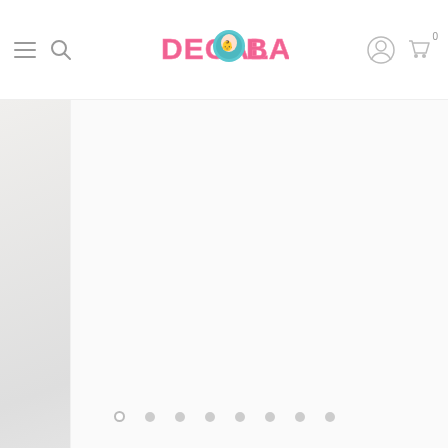Decal Baby - header navigation with logo, menu, search, account, and cart icons
[Figure (screenshot): Partial product image on the left edge showing a light-colored wall decal product]
[Figure (screenshot): Main product display area for Watercolor Whale Wall Decal, white background]
Watercolor Whale Wall Decal Removable Na...
$19.99
W
...
Pagination dots: 8 dots, first active